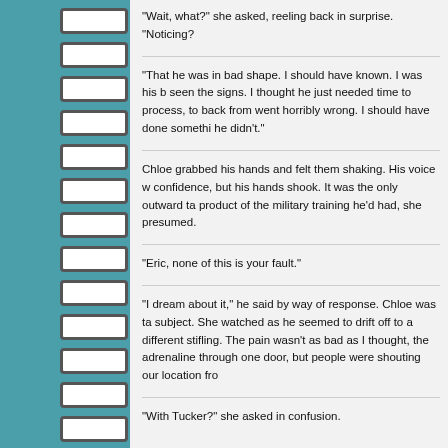“Wait, what?” she asked, reeling back in surprise. “Noticing?
“That he was in bad shape. I should have known. I was his b seen the signs. I thought he just needed time to process, to back from went horribly wrong. I should have done somethi he didn’t.”
Chloe grabbed his hands and felt them shaking. His voice w confidence, but his hands shook. It was the only outward ta product of the military training he’d had, she presumed.
“Eric, none of this is your fault.”
“I dream about it,” he said by way of response. Chloe was ta subject. She watched as he seemed to drift off to a different stifling. The pain wasn’t as bad as I thought, the adrenaline through one door, but people were shouting our location fro
“With Tucker?” she asked in confusion.